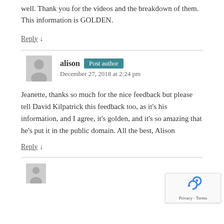well. Thank you for the videos and the breakdown of them. This information is GOLDEN.
Reply ↓
alison  Post author
December 27, 2018 at 2:24 pm
Jeanette, thanks so much for the nice feedback but please tell David Kilpatrick this feedback too, as it's his information, and I agree, it's golden, and it's so amazing that he's put it in the public domain. All the best, Alison
Reply ↓
[Figure (logo): reCAPTCHA badge with spinning arrow logo and Privacy · Terms text]